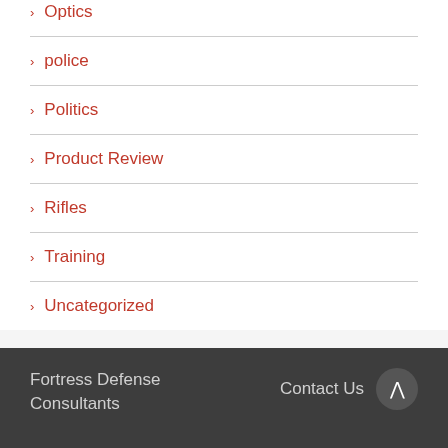Optics
police
Politics
Product Review
Rifles
Training
Uncategorized
Fortress Defense Consultants   Contact Us